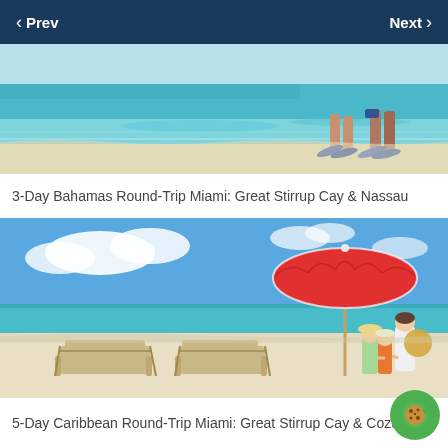Prev  Next
[Figure (photo): Beach scene with people walking in shallow water holding snorkeling fins, clear turquoise sea]
3-Day Bahamas Round-Trip Miami: Great Stirrup Cay & Nassau
[Figure (photo): Tropical beach scene with two lounge chairs, red beach umbrella, and a family (mother and two children) walking toward turquoise water]
5-Day Caribbean Round-Trip Miami: Great Stirrup Cay & Cozumel